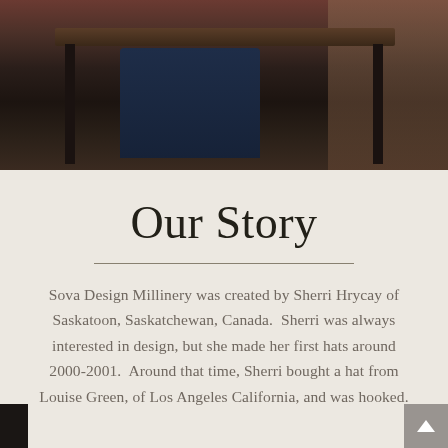[Figure (photo): Partial photo of a person sitting at a dark wooden table, wearing dark navy jeans. Rustic furniture and shelving visible in the background with warm reddish-brown tones.]
Our Story
Sova Design Millinery was created by Sherri Hrycay of Saskatoon, Saskatchewan, Canada.  Sherri was always interested in design, but she made her first hats around 2000-2001.  Around that time, Sherri bought a hat from Louise Green, of Los Angeles California, and was hooked.